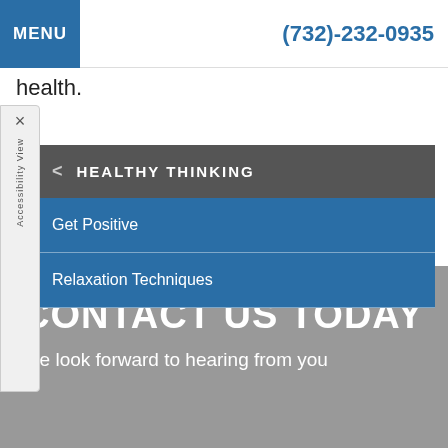MENU | (732)-232-0935
health.
[Figure (screenshot): Accessibility View widget on the left side with X close button]
HEALTHY THINKING
Get Positive
Relaxation Techniques
CONTACT US TODAY
We look forward to hearing from you